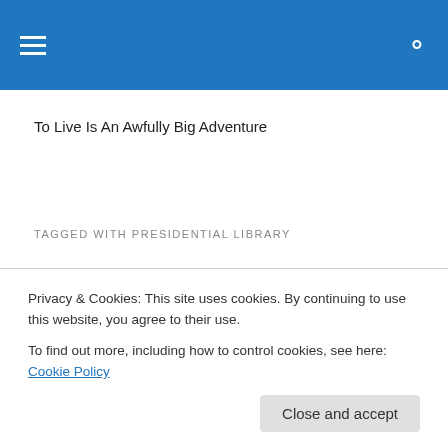To Live Is An Awfully Big Adventure
TAGGED WITH PRESIDENTIAL LIBRARY
Boston: It's All Here!
For Spring Break this year, Kevin surprised me with a tri…
Privacy & Cookies: This site uses cookies. By continuing to use this website, you agree to their use. To find out more, including how to control cookies, see here: Cookie Policy
Close and accept